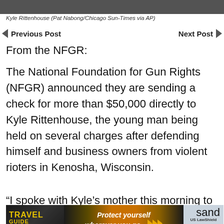[Figure (photo): Top portion of a photo of Kyle Rittenhouse, cropped to show only the upper edge]
Kyle Rittenhouse (Pat Nabong/Chicago Sun-Times via AP)
Previous Post   Next Post
From the NFGR:
The National Foundation for Gun Rights (NFGR) announced they are sending a check for more than $50,000 directly to Kyle Rittenhouse, the young man being held on several charges after defending himself and business owners from violent rioters in Kenosha, Wisconsin.
“I spoke with Kyle’s mother this morning to let
[Figure (photo): Travel Guide for Gun Owners advertisement banner with text 'Protect yourself wherever you go.' and US LawShield branding]
sand